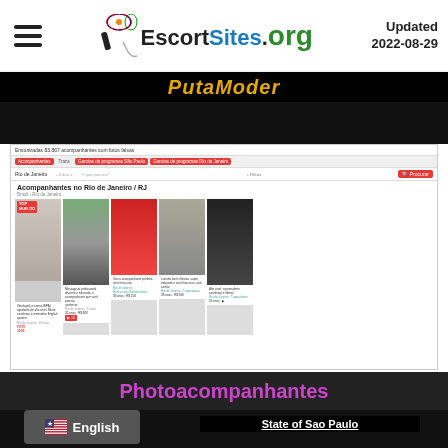EscortSites.org   Updated 2022-08-29
PutaModer
[Figure (screenshot): Screenshot of Photoacompanhantes website showing escort listings in Rio de Janeiro with profile images and cards]
Photoacompanhantes
English
State of Sao Paulo